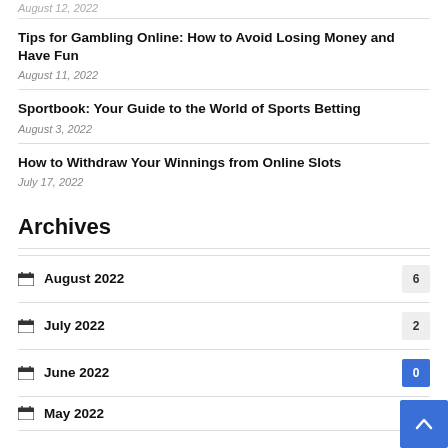August 12, 2022
Tips for Gambling Online: How to Avoid Losing Money and Have Fun
August 11, 2022
Sportbook: Your Guide to the World of Sports Betting
August 3, 2022
How to Withdraw Your Winnings from Online Slots
July 17, 2022
Archives
August 2022  6
July 2022  2
June 2022
May 2022